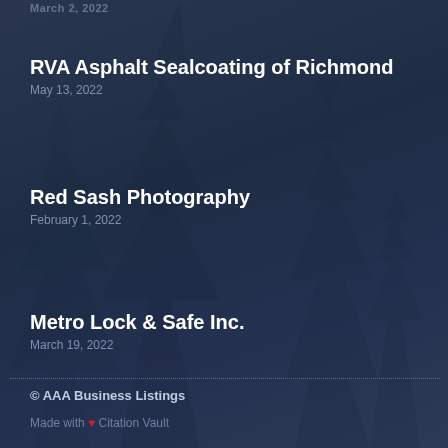March 2, 2022
RVA Asphalt Sealcoating of Richmond
May 13, 2022
Red Sash Photography
February 1, 2022
Metro Lock & Safe Inc.
March 19, 2022
© AAA Business Listings
Made with ❤ Citation Vault